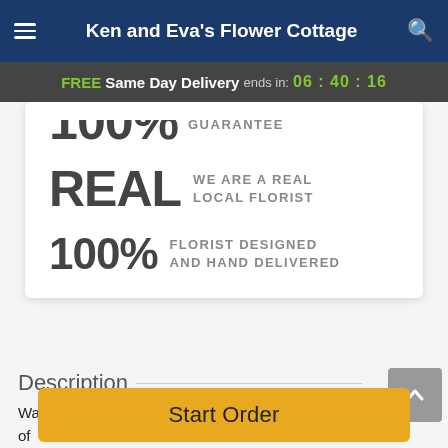Ken and Eva's Flower Cottage
FREE Same Day Delivery ends in: 06 : 40 : 16
100% GUARANTEE
REAL WE ARE A REAL LOCAL FLORIST
100% FLORIST DESIGNED AND HAND DELIVERED
Description
Want them to be overjoyed? Send an entire garden of cheer! Brimming with brightness and beauty, these spring
Start Order